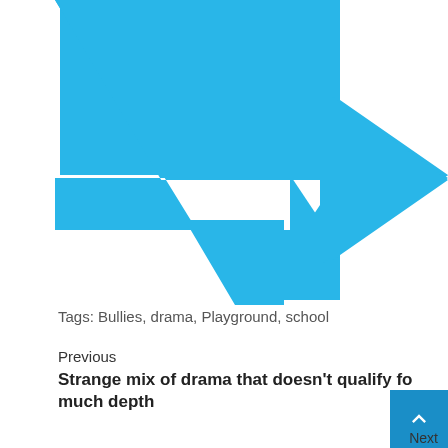[Figure (illustration): Large cyan/sky-blue right-pointing arrow with a downward tail, partially cropped at the top and right edges of the page]
Tags: Bullies, drama, Playground, school
Previous
Strange mix of drama that doesn't qualify for much depth